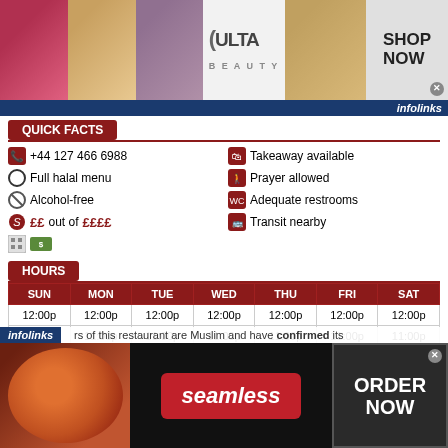[Figure (screenshot): ULTA Beauty advertisement banner with makeup photos and SHOP NOW button]
infolinks
QUICK FACTS
+44 127 466 6988
Takeaway available
Full halal menu
Prayer allowed
Alcohol-free
Adequate restrooms
££ out of ££££
Transit nearby
HOURS
| SUN | MON | TUE | WED | THU | FRI | SAT |
| --- | --- | --- | --- | --- | --- | --- |
| 12:00p | 12:00p | 12:00p | 12:00p | 12:00p | 12:00p | 12:00p |
| 11:00p | 11:00p | 11:00p | 11:00p | 11:00p | 11:00p | 11:00p |
HALAL SUMMARY
rs of this restaurant are Muslim and have confirmed its
[Figure (screenshot): Seamless food ordering advertisement with ORDER NOW button]